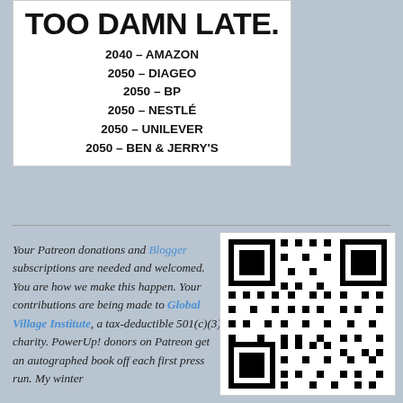[Figure (infographic): White box with bold black text: 'TOO DAMN LATE.' followed by a list of corporate net-zero target dates: 2040–AMAZON, 2050–DIAGEO, 2050–BP, 2050–NESTLÉ, 2050–UNILEVER, 2050–BEN & JERRY'S]
Your Patreon donations and Blogger subscriptions are needed and welcomed. You are how we make this happen. Your contributions are being made to Global Village Institute, a tax-deductible 501(c)(3) charity. PowerUp! donors on Patreon get an autographed book off each first press run. My winter
[Figure (other): QR code (black and white) on white background]